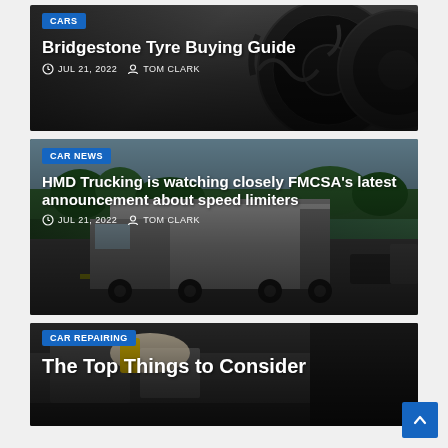[Figure (photo): Photo of black tyres/tires stacked, dark background with tread pattern visible]
Bridgestone Tyre Buying Guide
JUL 21, 2022   TOM CLARK
[Figure (photo): Photo of a large semi-truck/18-wheeler on a highway with trees in background]
HMD Trucking is watching closely FMCSA’s latest announcement about speed limiters
JUL 21, 2022   TOM CLARK
[Figure (photo): Photo of a mechanic working on car engine repair]
The Top Things to Consider